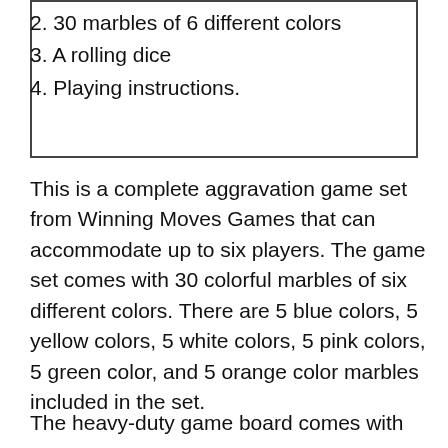2. 30 marbles of 6 different colors
3. A rolling dice
4. Playing instructions.
This is a complete aggravation game set from Winning Moves Games that can accommodate up to six players. The game set comes with 30 colorful marbles of six different colors. There are 5 blue colors, 5 yellow colors, 5 white colors, 5 pink colors, 5 green color, and 5 orange color marbles included in the set.
The heavy-duty game board comes with